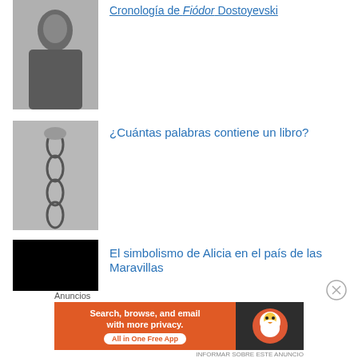[Figure (photo): Black and white portrait photo of a man]
Cronología de Fiódor Dostoyevski (partially visible, cropped at top)
[Figure (photo): Black and white photo of a hand holding a chain]
¿Cuántas palabras contiene un libro?
[Figure (photo): Dark image with a crescent moon and two yellow dots (eyes)]
El simbolismo de Alicia en el país de las Maravillas
Lectura actual
Anuncios
[Figure (other): DuckDuckGo advertisement banner: Search, browse, and email with more privacy. All in One Free App]